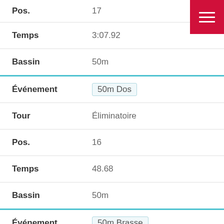Pos. 17
Temps 3:07.92
Bassin 50m
Événement 50m Dos
Tour Éliminatoire
Pos. 16
Temps 48.68
Bassin 50m
Événement 50m Brasse